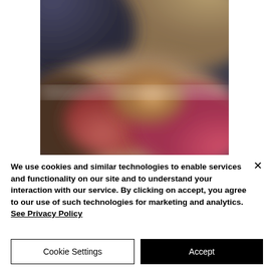[Figure (photo): Blurred food photograph with warm tones of red, pink, orange, yellow and dark background]
We use cookies and similar technologies to enable services and functionality on our site and to understand your interaction with our service. By clicking on accept, you agree to our use of such technologies for marketing and analytics. See Privacy Policy
Cookie Settings
Accept